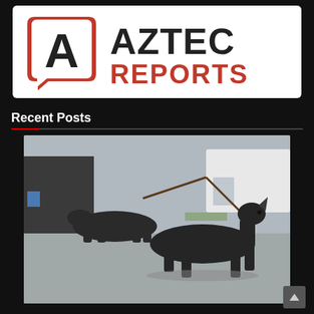[Figure (logo): Aztec Reports logo with chat bubble icon containing letter A, and bold text AZTEC REPORTS in dark/red colors on white background]
Recent Posts
[Figure (photo): Two hairless black dogs (Xoloitzcuintli) on leashes walking on a paved surface outdoors, with vehicles in the background]